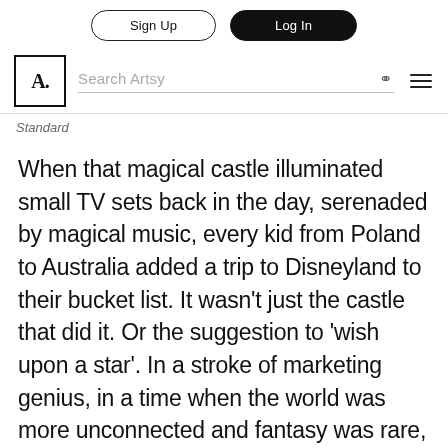Sign Up | Log In
Search Artsy
Standard
When that magical castle illuminated small TV sets back in the day, serenaded by magical music, every kid from Poland to Australia added a trip to Disneyland to their bucket list. It wasn't just the castle that did it. Or the suggestion to 'wish upon a star'. In a stroke of marketing genius, in a time when the world was more unconnected and fantasy was rare, animation, music and